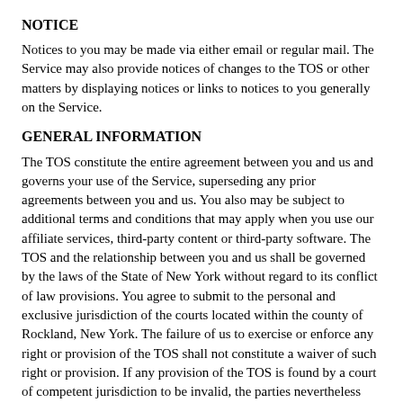NOTICE
Notices to you may be made via either email or regular mail. The Service may also provide notices of changes to the TOS or other matters by displaying notices or links to notices to you generally on the Service.
GENERAL INFORMATION
The TOS constitute the entire agreement between you and us and governs your use of the Service, superseding any prior agreements between you and us. You also may be subject to additional terms and conditions that may apply when you use our affiliate services, third-party content or third-party software. The TOS and the relationship between you and us shall be governed by the laws of the State of New York without regard to its conflict of law provisions. You agree to submit to the personal and exclusive jurisdiction of the courts located within the county of Rockland, New York. The failure of us to exercise or enforce any right or provision of the TOS shall not constitute a waiver of such right or provision. If any provision of the TOS is found by a court of competent jurisdiction to be invalid, the parties nevertheless agree that the court should endeavor to give effect to the parties’ intentions as reflected in the provision, and the other provisions of the TOS remain in full force and effect. You agree that regardless